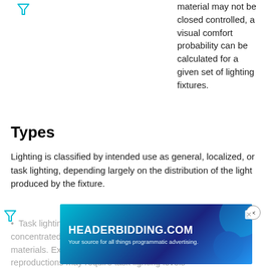material may not be closed controlled, a visual comfort probability can be calculated for a given set of lighting fixtures.
Types
Lighting is classified by intended use as general, localized, or task lighting, depending largely on the distribution of the light produced by the fixture.
Task lighting is mainly functional and is usually the most concentrated, for purposes such as reading or inspection of materials. Examples include desk lamps. High-quality reproductions may require task lighting levels